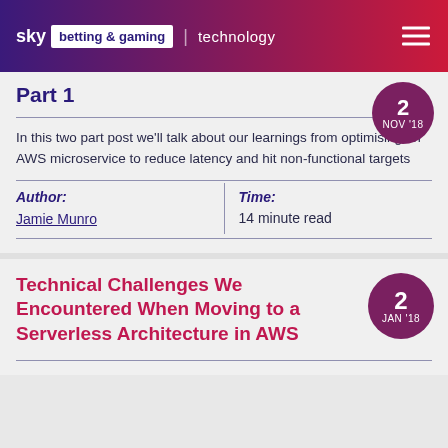sky betting & gaming | technology
Part 1
In this two part post we'll talk about our learnings from optimising an AWS microservice to reduce latency and hit non-functional targets
| Author: | Time: |
| --- | --- |
| Jamie Munro | 14 minute read |
Technical Challenges We Encountered When Moving to a Serverless Architecture in AWS